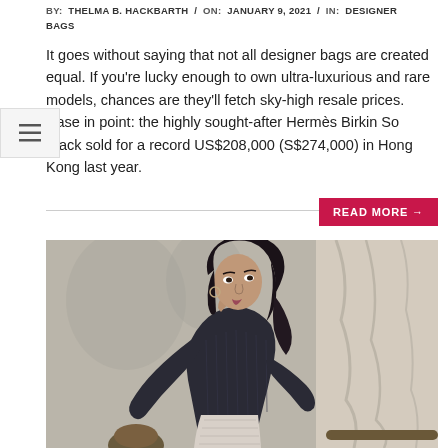BY: THELMA B. HACKBARTH / ON: JANUARY 9, 2021 / IN: DESIGNER BAGS
It goes without saying that not all designer bags are created equal. If you're lucky enough to own ultra-luxurious and rare models, chances are they'll fetch sky-high resale prices. Case in point: the highly sought-after Hermès Birkin So Black sold for a record US$208,000 (S$274,000) in Hong Kong last year.
[Figure (photo): Woman with dark hair leaning forward wearing a dark ribbed long-sleeve top and light patterned skirt, photographed in an indoor setting with curtains and decorative elements in background.]